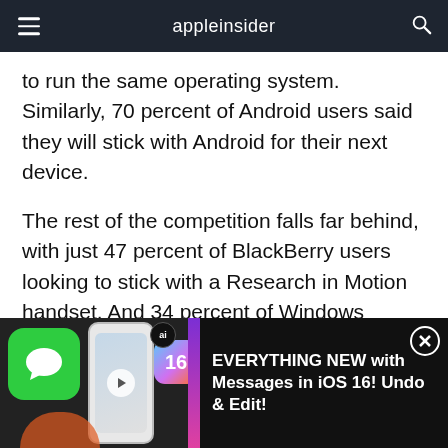appleinsider
to run the same operating system. Similarly, 70 percent of Android users said they will stick with Android for their next device.
The rest of the competition falls far behind, with just 47 percent of BlackBerry users looking to stick with a Research in Motion handset. And 34 percent of Windows Mobile users said they would stick with the same operating system in their next device.
[Figure (screenshot): Advertisement banner for AppleInsider video: 'EVERYTHING NEW with Messages in iOS 16! Undo & Edit!' showing a hand holding an iPhone with Messages and iOS 16 icons, with a close button.]